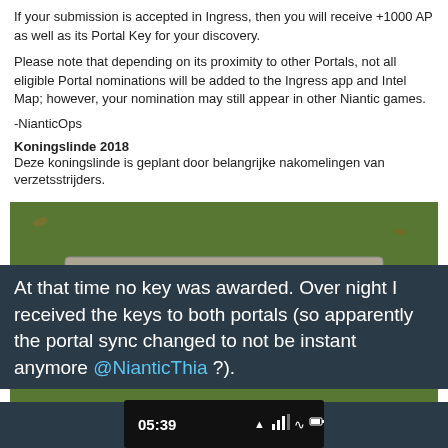If your submission is accepted in Ingress, then you will receive +1000 AP as well as its Portal Key for your discovery.
Please note that depending on its proximity to other Portals, not all eligible Portal nominations will be added to the Ingress app and Intel Map; however, your nomination may still appear in other Niantic games.
-NianticOps
Koningslinde 2018
Deze koningslinde is geplant door belangrijke nakomelingen van verzetsstrijders.
[Figure (photo): Photograph of a stone plaque on grass reading 'Koningslinde,' with Dutch text describing the planting of a linden tree by descendants of resistance fighters.]
At that time no key was awarded. Over night I received the keys to both portals (so apparently the portal sync changed to not be instant anymore @NianticThia ?).
[Figure (screenshot): Mobile phone screenshot showing time 05:39 and signal/battery icons]